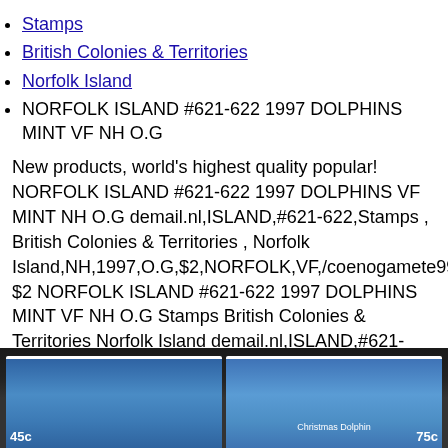Stamps
British Colonies & Territories
Norfolk Island
NORFOLK ISLAND #621-622 1997 DOLPHINS MINT VF NH O.G
New products, world's highest quality popular! NORFOLK ISLAND #621-622 1997 DOLPHINS VF MINT NH O.G demail.nl,ISLAND,#621-622,Stamps , British Colonies & Territories , Norfolk Island,NH,1997,O.G,$2,NORFOLK,VF,/coenogamete990492.html,D $2 NORFOLK ISLAND #621-622 1997 DOLPHINS MINT VF NH O.G Stamps British Colonies & Territories Norfolk Island demail.nl,ISLAND,#621-622,Stamps , British Colonies & Territories , Norfolk Island,NH,1997,O.G,$2,NORFOLK,VF,/coenogamete990492.html,D New products, world's highest quality popular! NORFOLK ISLAND #621-622 1997 DOLPHINS VF MINT NH O.G $2 NORFOLK ISLAND #621-622 1997 DOLPHINS MINT VF NH O.G Stamps British Colonies & Territories Norfolk Island
[Figure (photo): Bottom portion of two postage stamps from Norfolk Island showing dolphins, with blue ocean background. Left stamp partially visible, right stamp partially visible with 'Christmas Dolphin' text.]